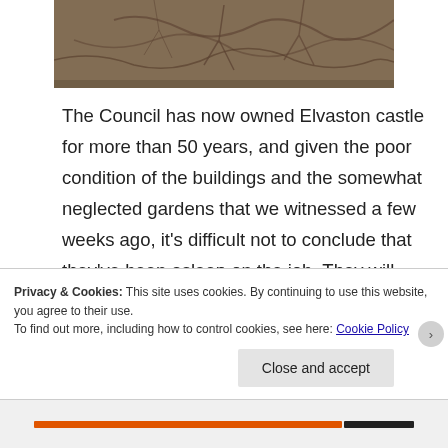[Figure (photo): Aerial or close-up photo of ground/roots/soil texture with brownish earthy tones]
The Council has now owned Elvaston castle for more than 50 years, and given the poor condition of the buildings and the somewhat neglected gardens that we witnessed a few weeks ago, it’s difficult not to conclude that they’ve been asleep on the job. They will maintain their innocence, of course, pointing to financial pressures and competing
Privacy & Cookies: This site uses cookies. By continuing to use this website, you agree to their use.
To find out more, including how to control cookies, see here: Cookie Policy